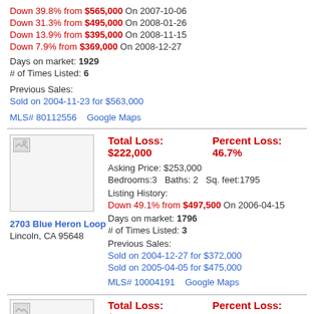Down 39.8% from $565,000 On 2007-10-06
Down 31.3% from $495,000 On 2008-01-26
Down 13.9% from $395,000 On 2008-11-15
Down 7.9% from $369,000 On 2008-12-27
Days on market: 1929
# of Times Listed: 6
Previous Sales:
Sold on 2004-11-23 for $563,000
MLS# 80112556    Google Maps
Total Loss: $222,000    Percent Loss: 46.7%
Asking Price: $253,000
Bedrooms:3   Baths: 2   Sq. feet:1795
Listing History:
Down 49.1% from $497,500 On 2006-04-15
Days on market: 1796
# of Times Listed: 3
Previous Sales:
Sold on 2004-12-27 for $372,000
Sold on 2005-04-05 for $475,000
MLS# 10004191    Google Maps
2703 Blue Heron Loop
Lincoln, CA 95648
Total Loss: $217,000    Percent Loss: 42.1%